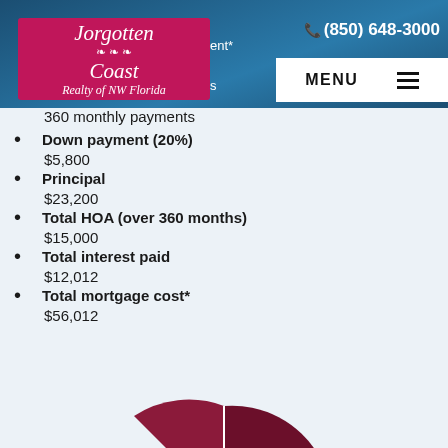[Figure (logo): Forgotten Coast Realty of NW Florida logo - pink/crimson box with white italic script text]
(850) 648-3000
MENU
360 monthly payments
Down payment (20%)
$5,800
Principal
$23,200
Total HOA (over 360 months)
$15,000
Total interest paid
$12,012
Total mortgage cost*
$56,012
[Figure (pie-chart): Partial pie chart visible at bottom of page, dark crimson/maroon colors]